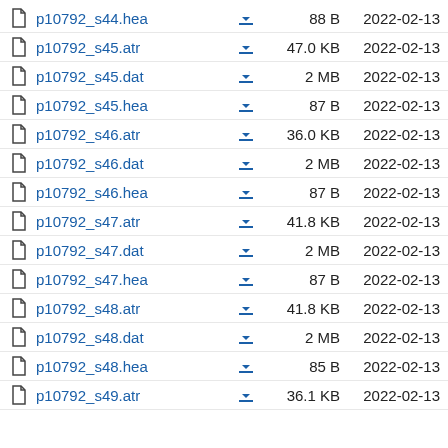p10792_s44.hea  88 B  2022-02-13
p10792_s45.atr  47.0 KB  2022-02-13
p10792_s45.dat  2 MB  2022-02-13
p10792_s45.hea  87 B  2022-02-13
p10792_s46.atr  36.0 KB  2022-02-13
p10792_s46.dat  2 MB  2022-02-13
p10792_s46.hea  87 B  2022-02-13
p10792_s47.atr  41.8 KB  2022-02-13
p10792_s47.dat  2 MB  2022-02-13
p10792_s47.hea  87 B  2022-02-13
p10792_s48.atr  41.8 KB  2022-02-13
p10792_s48.dat  2 MB  2022-02-13
p10792_s48.hea  85 B  2022-02-13
p10792_s49.atr  36.1 KB  2022-02-13